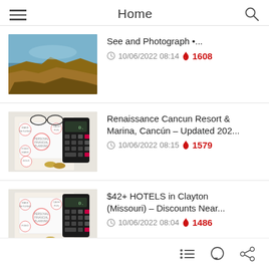Home
See and Photograph •… | 10/06/2022 08:14 | 1608
Renaissance Cancun Resort & Marina, Cancún – Updated 202… | 10/06/2022 08:15 | 1579
$42+ HOTELS in Clayton (Missouri) – Discounts Near… | 10/06/2022 08:04 | 1486
Navigation icons: list, comment, share